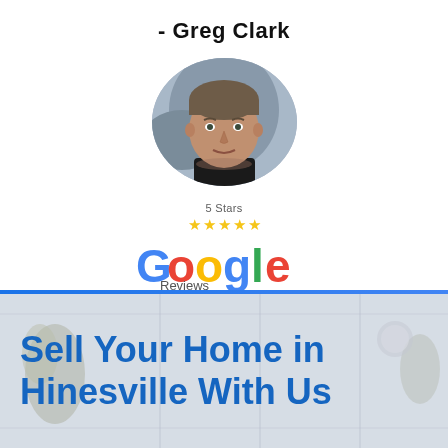- Greg Clark
[Figure (photo): Circular portrait photo of Greg Clark, a middle-aged man]
[Figure (logo): Google Reviews logo with 5 Stars rating and gold star icons]
Sell Your Home in Hinesville With Us